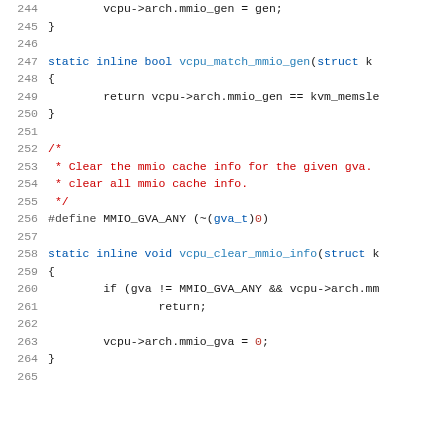[Figure (screenshot): Source code listing showing C code lines 244-265, with syntax highlighting. Lines shown: vcpu->arch.mmio_gen = gen; closing brace, blank line, static inline bool vcpu_match_mmio_gen function definition, opening brace, return statement with vcpu->arch.mmio_gen == kvm_memsl..., closing brace, blank line, block comment about clearing mmio cache info, #define MMIO_GVA_ANY (~(gva_t)0), blank line, static inline void vcpu_clear_mmio_info function definition, opening brace, if statement with gva != MMIO_GVA_ANY && vcpu->arch.m..., return;, blank line, vcpu->arch.mmio_gva = 0;, closing brace, blank line.]